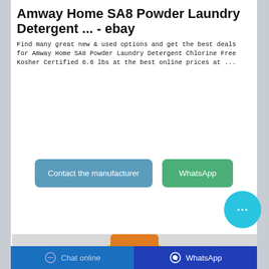Amway Home SA8 Powder Laundry Detergent ... - ebay
Find many great new & used options and get the best deals for Amway Home SA8 Powder Laundry Detergent Chlorine Free Kosher Certified 6.6 lbs at the best online prices at ...
[Figure (screenshot): Blue 'Contact the manufacturer' button and green 'WhatsApp' button side by side]
[Figure (photo): Partial photo of a yellow Amway SA8 laundry detergent bag on a grey background]
Chat online    WhatsApp